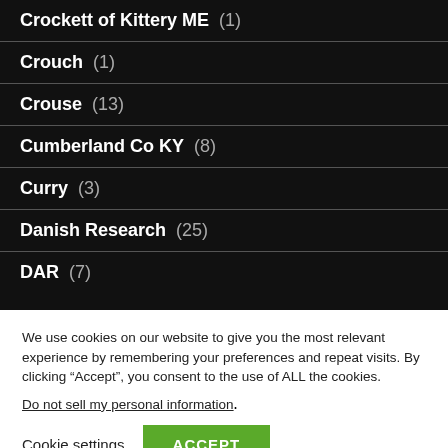Crockett of Kittery ME (1)
Crouch (1)
Crouse (13)
Cumberland Co KY (8)
Curry (3)
Danish Research (25)
DAR (7)
We use cookies on our website to give you the most relevant experience by remembering your preferences and repeat visits. By clicking “Accept”, you consent to the use of ALL the cookies.
Do not sell my personal information.
Cookie settings  ACCEPT